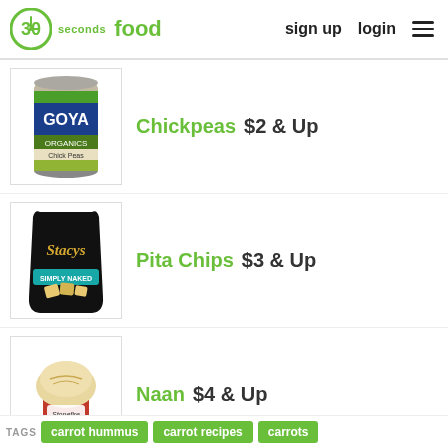30 seconds food — sign up  login
Chickpeas  $2 & Up
Pita Chips  $3 & Up
Naan  $4 & Up
TAGS  carrot hummus  carrot recipes  carrots